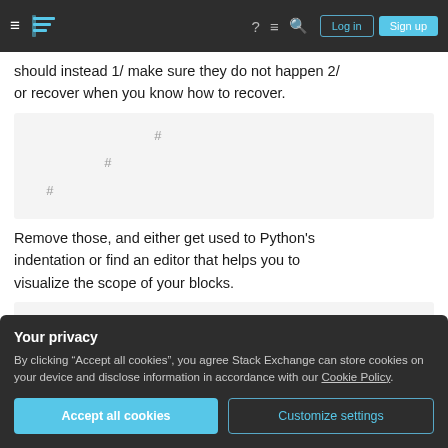Stack Exchange navigation bar with hamburger menu, logo, help, chat, search, Log in, Sign up
should instead 1/ make sure they do not happen 2/ or recover when you know how to recover.
[Figure (screenshot): Code block showing three comment lines (#) with increasing indentation levels]
Remove those, and either get used to Python's indentation or find an editor that helps you to visualize the scope of your blocks.
Your privacy
By clicking "Accept all cookies", you agree Stack Exchange can store cookies on your device and disclose information in accordance with our Cookie Policy.